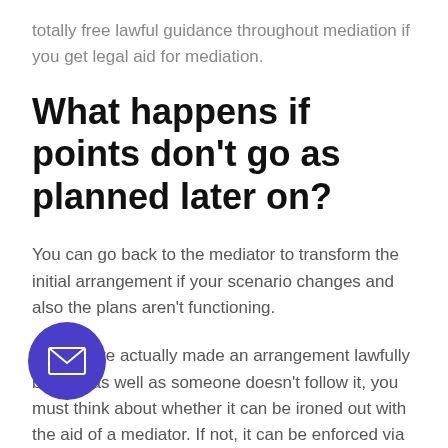totally free lawful guidance throughout mediation if you get legal aid for mediation.
What happens if points don't go as planned later on?
You can go back to the mediator to transform the initial arrangement if your scenario changes and also the plans aren't functioning.
If you have actually made an arrangement lawfully binding as well as someone doesn't follow it, you must think about whether it can be ironed out with the aid of a mediator. If not, it can be enforced via the courts.
Can I see what happens in